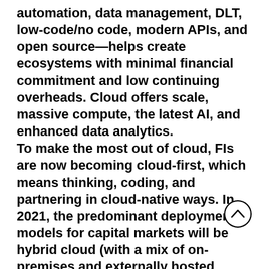automation, data management, DLT, low-code/no code, modern APIs, and open source—helps create ecosystems with minimal financial commitment and low continuing overheads. Cloud offers scale, massive compute, the latest AI, and enhanced data analytics. To make the most out of cloud, FIs are now becoming cloud-first, which means thinking, coding, and partnering in cloud-native ways. In 2021, the predominant deployment models for capital markets will be hybrid cloud (with a mix of on-premises and externally hosted clouds) and multi-cl (leveraging different cloud solution providers for unique cloud services